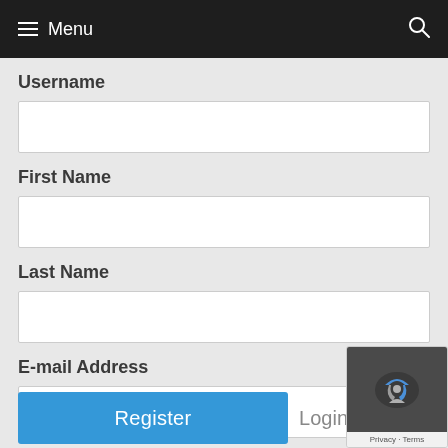Menu
Username
First Name
Last Name
E-mail Address
Register
Login